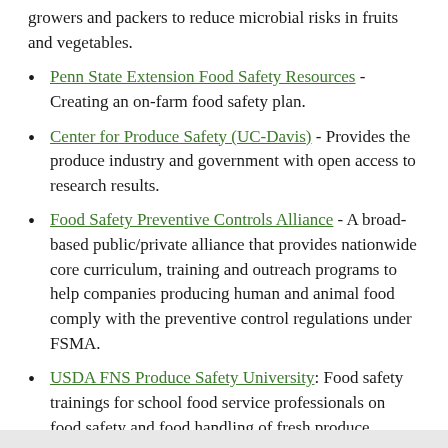growers and packers to reduce microbial risks in fruits and vegetables.
Penn State Extension Food Safety Resources - Creating an on-farm food safety plan.
Center for Produce Safety (UC-Davis) - Provides the produce industry and government with open access to research results.
Food Safety Preventive Controls Alliance - A broad-based public/private alliance that provides nationwide core curriculum, training and outreach programs to help companies producing human and animal food comply with the preventive control regulations under FSMA.
USDA FNS Produce Safety University: Food safety trainings for school food service professionals on food safety and food handling of fresh produce.